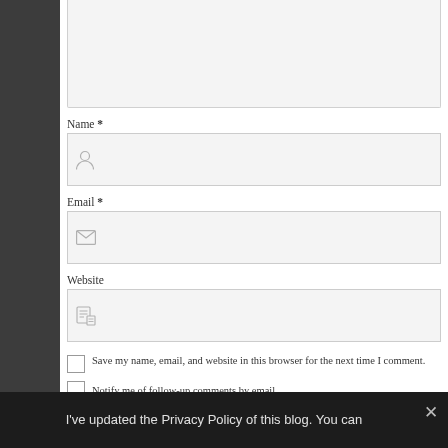[Figure (screenshot): Web comment form with Name, Email, Website fields, checkboxes, and Submit Comment button]
Name *
Email *
Website
Save my name, email, and website in this browser for the next time I comment.
Notify me of follow-up comments by email.
Notify me of new posts by email.
Submit Comment
I've updated the Privacy Policy of this blog. You can